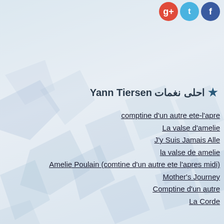[Figure (logo): Social media icons: Google+, Twitter, Facebook in the top-right corner]
★ احلى نغمات Yann Tiersen
comptine d'un autre ete-l'apre
La valse d'amelie
J'y Suis Jamais Alle
la valse de amelie
Amelie Poulain (comtine d'un autre ete l'apres midi)
Mother's Journey
Comptine d'un autre
La Corde